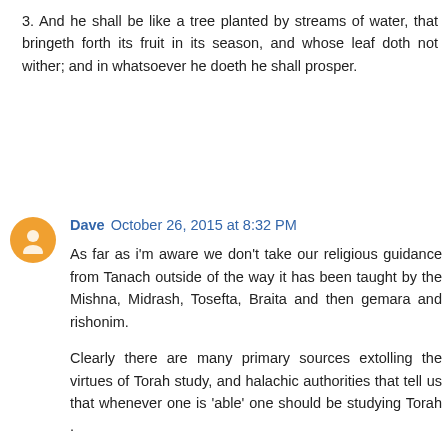3. And he shall be like a tree planted by streams of water, that bringeth forth its fruit in its season, and whose leaf doth not wither; and in whatsoever he doeth he shall prosper.
Dave  October 26, 2015 at 8:32 PM
As far as i'm aware we don't take our religious guidance from Tanach outside of the way it has been taught by the Mishna, Midrash, Tosefta, Braita and then gemara and rishonim.
Clearly there are many primary sources extolling the virtues of Torah study, and halachic authorities that tell us that whenever one is 'able' one should be studying Torah .
It seems though that you just have a thing against the charedi lifestyle, and disregard the halachic autonomy of the the authorities in such communities. Now I wonder if we can find primary sources for sinat chinam in Tanach.